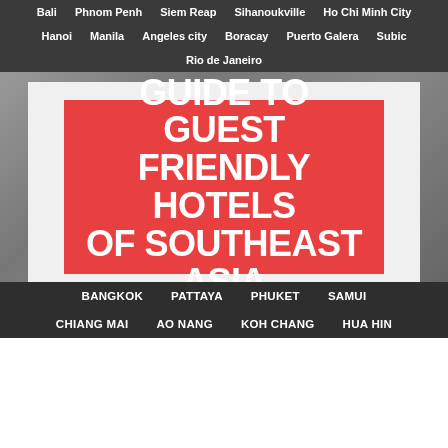Bali | Phnom Penh | Siem Reap | Sihanoukville | Ho Chi Minh City | Hanoi | Manila | Angeles city | Boracay | Puerto Galera | Subic | Rio de Janeiro
GUIDE TO GUEST FRIENDLY HOTELS OF SOUTHEAST ASIA
BANGKOK | PATTAYA | PHUKET | SAMUI | CHIANG MAI | AO NANG | KOH CHANG | HUA HIN